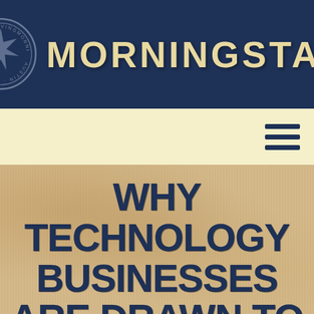[Figure (logo): Morningstar brand header with circular seal/badge on left and 'MORNINGSTAR' text in large cream letters on dark navy blue background]
[Figure (other): Light yellow navigation bar with hamburger menu icon (three horizontal dark navy lines) on the right side]
WHY TECHNOLOGY BUSINESSES ARE DRAWN TO AUSTIN: WHAT